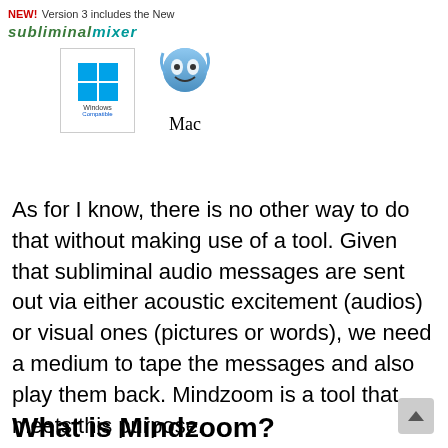[Figure (logo): NEW! Version 3 includes the New Subliminal Mixer logo with Windows Compatible and Mac logos]
As for I know, there is no other way to do that without making use of a tool. Given that subliminal audio messages are sent out via either acoustic excitement (audios) or visual ones (pictures or words), we need a medium to tape the messages and also play them back. Mindzoom is a tool that meets this purpose.
What is Mindzoom?